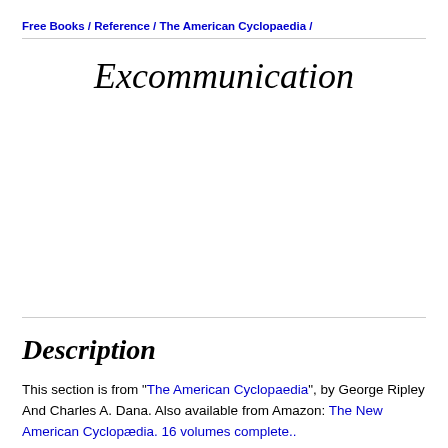Free Books / Reference / The American Cyclopaedia /
Excommunication
Description
This section is from "The American Cyclopaedia", by George Ripley And Charles A. Dana. Also available from Amazon: The New American Cyclopædia. 16 volumes complete..